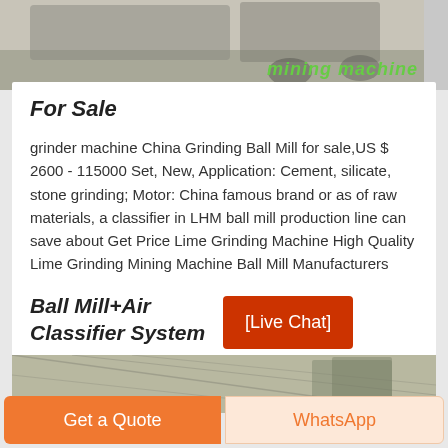[Figure (photo): Top portion of a product listing page showing a vehicle/truck in a parking area with green italic text overlay reading 'mining machine']
For Sale
grinder machine China Grinding Ball Mill for sale,US $ 2600 - 115000 Set, New, Application: Cement, silicate, stone grinding; Motor: China famous brand or as of raw materials, a classifier in LHM ball mill production line can save about Get Price Lime Grinding Machine High Quality Lime Grinding Mining Machine Ball Mill Manufacturers
Ball Mill+Air Classifier System
[Figure (screenshot): Red button element showing [Live Chat]]
[Figure (photo): Bottom portion showing interior of an industrial building with steel framework/roof structure]
Get a Quote
WhatsApp